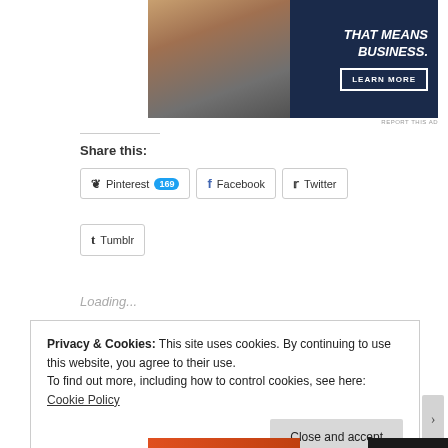[Figure (photo): Advertisement banner: left half shows a person holding a sign reading OPEN, right half is dark navy blue with bold white italic text THAT MEANS BUSINESS. and a LEARN MORE button]
REPORT THIS AD
Share this:
Pinterest 169
Facebook
Twitter
Tumblr
Loading...
Privacy & Cookies: This site uses cookies. By continuing to use this website, you agree to their use.
To find out more, including how to control cookies, see here: Cookie Policy
Close and accept